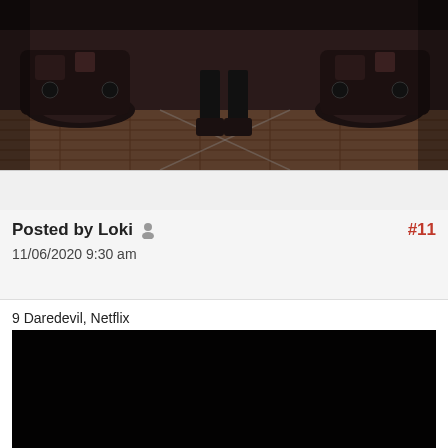[Figure (photo): Dark moody photo showing motorcycle(s) and a person's lower body/legs standing between them on a wooden or industrial floor.]
Posted by Loki  #11
11/06/2020 9:30 am
9 Daredevil, Netflix
[Figure (photo): Very dark, nearly black image — appears to be a scene from Daredevil on Netflix.]